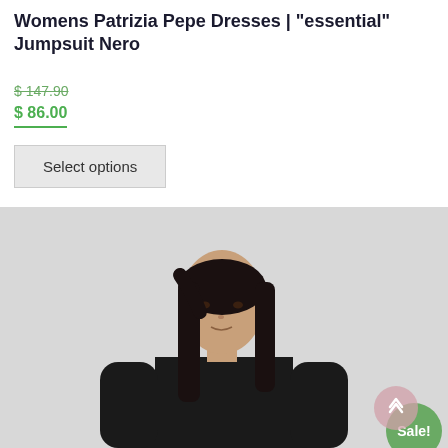Womens Patrizia Pepe Dresses | "essential" Jumpsuit Nero
$ 147.90
$ 86.00
Select options
[Figure (photo): Model wearing a black long-sleeve jumpsuit against a light grey background, with a green 'Sale!' badge in top right corner and a pink scroll-up button in the bottom right.]